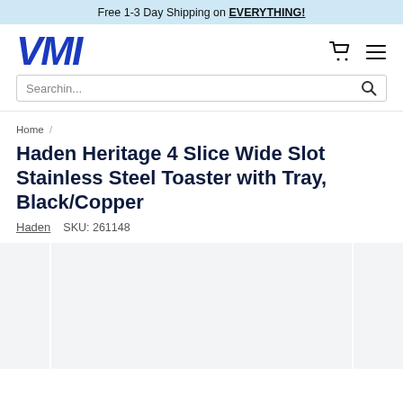Free 1-3 Day Shipping on EVERYTHING!
[Figure (logo): VMI logo in blue bold italic text]
Searching...
Home /
Haden Heritage 4 Slice Wide Slot Stainless Steel Toaster with Tray, Black/Copper
Haden   SKU: 261148